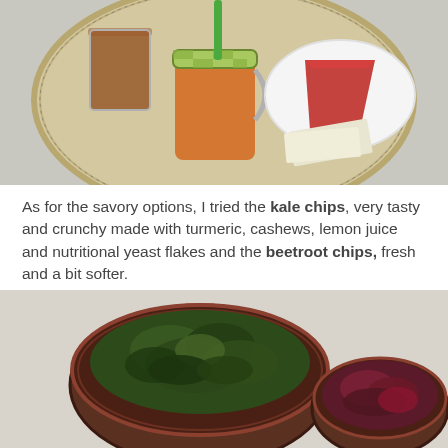[Figure (photo): Overhead view of a round tray on a table with an orange juice in a mason jar with green checkered lid and green straw, a glass of dark tea, a slice of red/beetroot cake on a white paper plate, and some napkins.]
As for the savory options, I tried the kale chips, very tasty and crunchy made with turmeric, cashews, lemon juice and nutritional yeast flakes and the beetroot chips, fresh and a bit softer.
[Figure (photo): Two decorative bowls on a table: a larger bowl filled with dark green kale chips on the left, and a smaller bowl with dark purple/red beetroot chips on the right.]